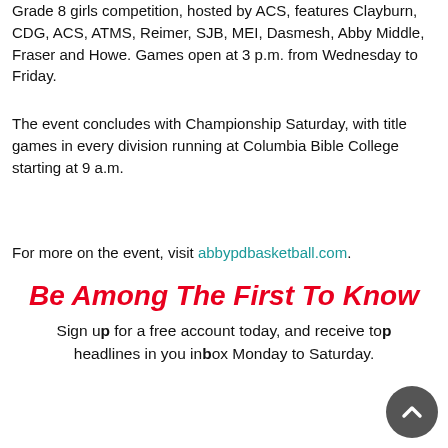Grade 8 girls competition, hosted by ACS, features Clayburn, CDG, ACS, ATMS, Reimer, SJB, MEI, Dasmesh, Abby Middle, Fraser and Howe. Games open at 3 p.m. from Wednesday to Friday.
The event concludes with Championship Saturday, with title games in every division running at Columbia Bible College starting at 9 a.m.
For more on the event, visit abbypdbasketball.com.
Be Among The First To Know
Sign up for a free account today, and receive top headlines in you inbox Monday to Saturday.